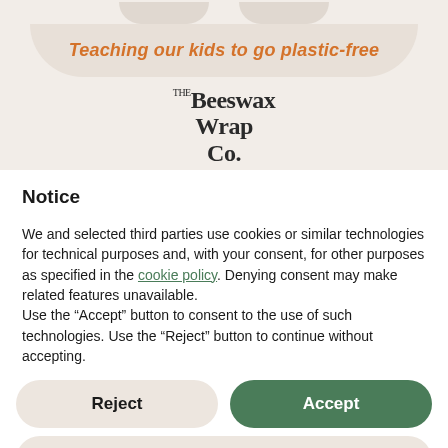[Figure (logo): Beeswax Wrap Co. website header with decorative banner shape saying 'Teaching our kids to go plastic-free' in orange italic text, and The Beeswax Wrap Co. logo below in dark serif bold text]
Notice
We and selected third parties use cookies or similar technologies for technical purposes and, with your consent, for other purposes as specified in the cookie policy. Denying consent may make related features unavailable.
Use the “Accept” button to consent to the use of such technologies. Use the “Reject” button to continue without accepting.
Reject
Accept
Learn more and customize